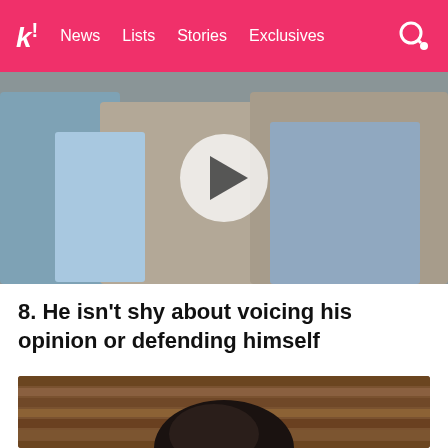k! News Lists Stories Exclusives
[Figure (photo): Video thumbnail showing K-pop idols outdoors near stone wall, with a play button overlay]
8. He isn't shy about voicing his opinion or defending himself
[Figure (photo): Person with dark hair photographed from above, against a wooden plank background]